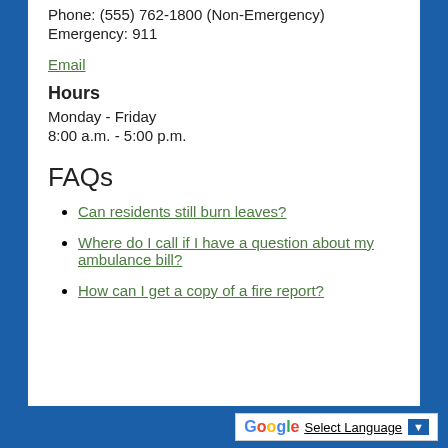Phone: (555) 762-1800 (Non-Emergency)
Emergency: 911
Email
Hours
Monday - Friday
8:00 a.m. - 5:00 p.m.
FAQs
Can residents still burn leaves?
Where do I call if I have a question about my ambulance bill?
How can I get a copy of a fire report?
Select Language